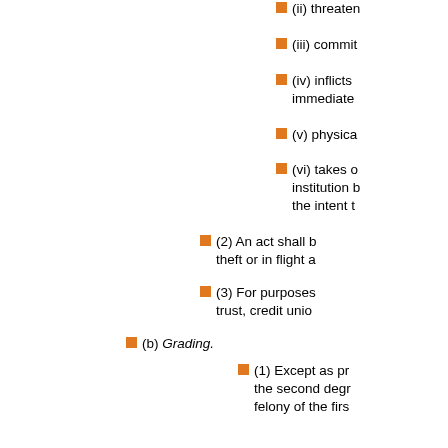(ii) threaten
(iii) commit
(iv) inflicts immediate
(v) physica
(vi) takes o institution b the intent t
(2) An act shall b theft or in flight a
(3) For purposes trust, credit unio
(b) Grading.
(1) Except as pr the second degr felony of the firs
(2) If the object o terms are define Substance, Drug
18 Pa.C.S. § 3921. Theft b
(a) Movable property. movable property of a